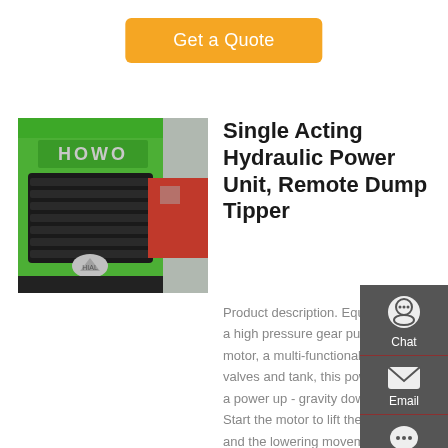Get a Quote
[Figure (photo): Green HOWO truck front grille and logo, with a red truck visible in the background]
Single Acting Hydraulic Power Unit, Remote Dump Tipper
Product description. Equipped with a high pressure gear pump, a DC motor, a multi-functional manifold, valves and tank, this power unit has a power up - gravity down circuit. Start the motor to lift the machine and the lowering movement is activated